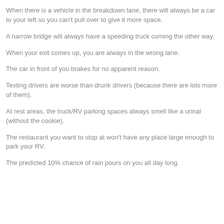When there is a vehicle in the breakdown lane, there will always be a car to your left so you can't pull over to give it more space.
A narrow bridge will always have a speeding truck coming the other way.
When your exit comes up, you are always in the wrong lane.
The car in front of you brakes for no apparent reason.
Texting drivers are worse than drunk drivers (because there are lots more of them).
At rest areas, the truck/RV parking spaces always smell like a urinal (without the cookie).
The restaurant you want to stop at won't have any place large enough to park your RV.
The predicted 10% chance of rain pours on you all day long.